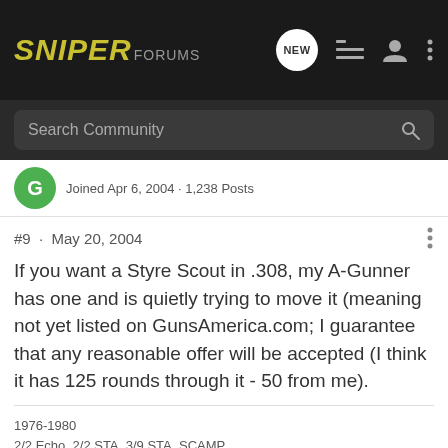SNIPER FORUMS
Search Community
Joined Apr 6, 2004 · 1,238 Posts
#9 · May 20, 2004
If you want a Styre Scout in .308, my A-Gunner has one and is quietly trying to move it (meaning not yet listed on GunsAmerica.com; I guarantee that any reasonable offer will be accepted (I think it has 125 rounds through it - 50 from me).
1976-1980
2/2 Echo, 2/2 STA, 3/9 STA, SCAMP
ASLandry · Registered